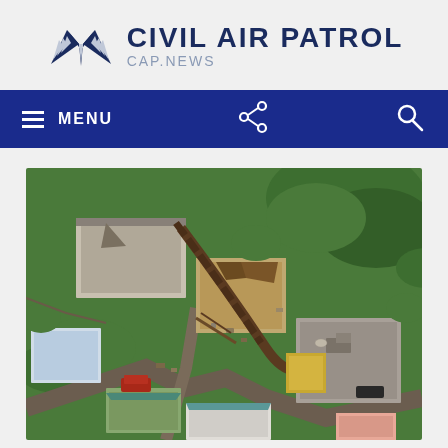CIVIL AIR PATROL CAP.NEWS
[Figure (other): Civil Air Patrol logo - stylized eagle/chevron in dark navy blue]
MENU
[Figure (photo): Aerial photograph showing hurricane damage to a residential neighborhood. Multiple buildings with damaged or missing roofs, fallen trees, debris scattered throughout. Green vegetation visible. Appears to be Puerto Rico after a major hurricane.]